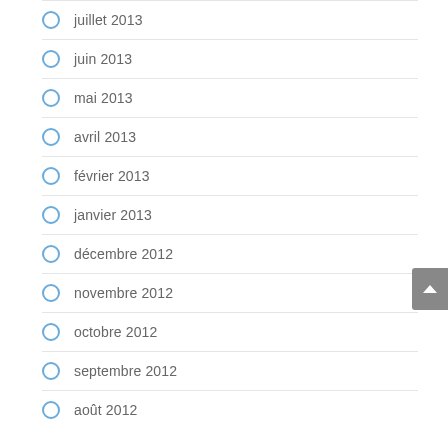juillet 2013
juin 2013
mai 2013
avril 2013
février 2013
janvier 2013
décembre 2012
novembre 2012
octobre 2012
septembre 2012
août 2012